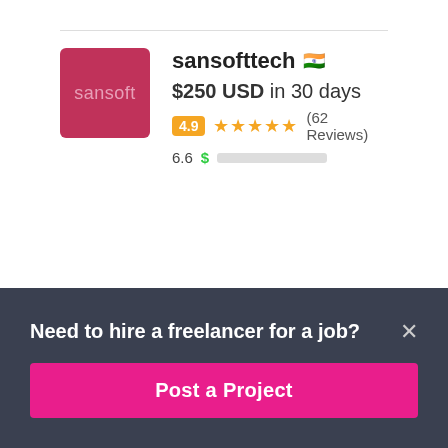[Figure (screenshot): Freelancer profile card for sansofttech with crimson logo avatar, $250 USD in 30 days, 4.9 rating with 62 reviews, 6.6 score with green progress bar, and Indian flag]
sansofttech 🇮🇳
$250 USD in 30 days
4.9 ★★★★★ (62 Reviews)
6.6 $ [progress bar]
kumaramarnath4 🇮🇳
Need to hire a freelancer for a job?
Post a Project